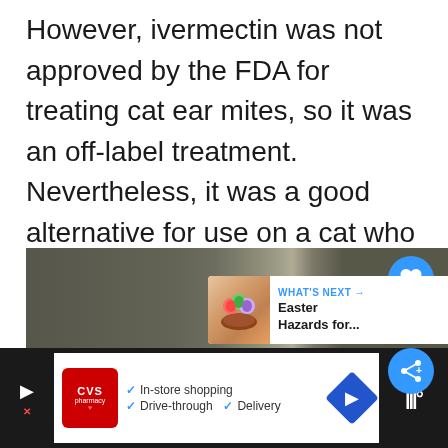However, ivermectin was not approved by the FDA for treating cat ear mites, so it was an off-label treatment. Nevertheless, it was a good alternative for use on a cat who wouldn't allow her owner to mess with her ears anymore.
[Figure (screenshot): Screenshot of a website showing a blurred/dark image of a cat video with UI overlays: a blue heart button (like), a count of 159, a blue share button, and a 'What's Next' card showing Easter Hazards article thumbnail. Below is an advertisement bar for CVS Pharmacy with in-store shopping, drive-through, and delivery options.]